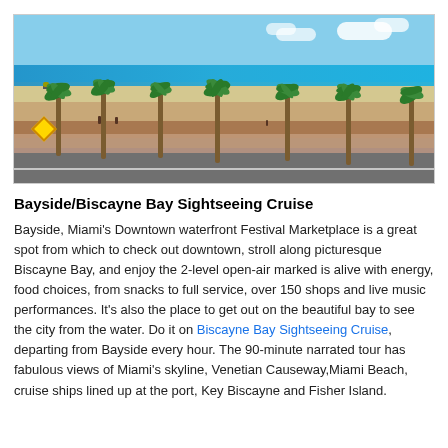[Figure (photo): Beach scene in Fort Lauderdale/Miami area with palm trees lining a road, sandy beach, blue ocean water, and partly cloudy sky]
Bayside/Biscayne Bay Sightseeing Cruise
Bayside, Miami's Downtown waterfront Festival Marketplace is a great spot from which to check out downtown, stroll along picturesque Biscayne Bay, and enjoy the 2-level open-air marked is alive with energy, food choices, from snacks to full service, over 150 shops and live music performances. It's also the place to get out on the beautiful bay to see the city from the water. Do it on Biscayne Bay Sightseeing Cruise, departing from Bayside every hour. The 90-minute narrated tour has fabulous views of Miami's skyline, Venetian Causeway,Miami Beach, cruise ships lined up at the port, Key Biscayne and Fisher Island.